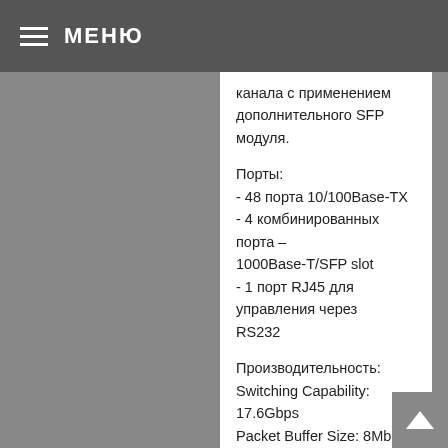МЕНЮ
канала с применением дополнительного SFP модуля.
Порты:
- 48 порта 10/100Base-TX
- 4 комбинированных порта – 1000Base-T/SFP slot
- 1 порт RJ45 для управления через RS232
Производительность:
Switching Capability: 17.6Gbps
Packet Buffer Size: 8Mb
IPv6 Address Types Stack:
IPv6 Neighbor Discovery
HTTP over IPv6
Remote IPv6 ping
IPv6 Telnet Support
DHCPv6 snooping
MVR6
QoS функции:
hardware queues per port
TCP/UDP port number
Rate Limiting (Ingress and Egress, per